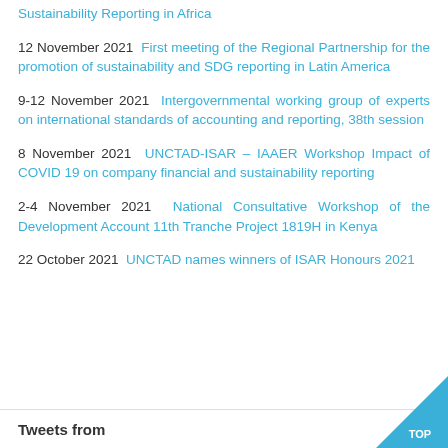Sustainability Reporting in Africa
12 November 2021 First meeting of the Regional Partnership for the promotion of sustainability and SDG reporting in Latin America
9-12 November 2021 Intergovernmental working group of experts on international standards of accounting and reporting, 38th session
8 November 2021 UNCTAD-ISAR – IAAER Workshop Impact of COVID 19 on company financial and sustainability reporting
2-4 November 2021 National Consultative Workshop of the Development Account 11th Tranche Project 1819H in Kenya
22 October 2021 UNCTAD names winners of ISAR Honours 2021
Tweets from